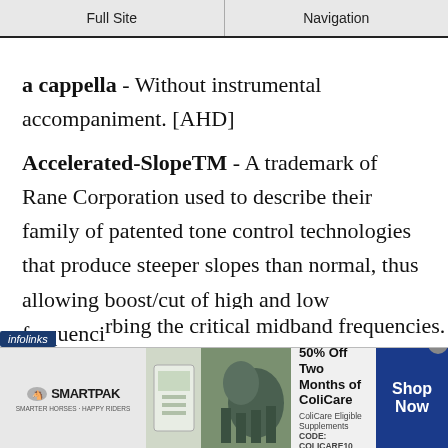Full Site | Navigation
a cappella - Without instrumental accompaniment. [AHD]
Accelerated-SlopeTM - A trademark of Rane Corporation used to describe their family of patented tone control technologies that produce steeper slopes than normal, thus allowing boost/cut of high and low frequencies without disturbing the critical midband frequencies.
[Figure (screenshot): Infolinks ad badge and SmartPak advertisement banner at the bottom of the page showing '50% Off Two Months of ColiCare, CODE: COLICARE10']